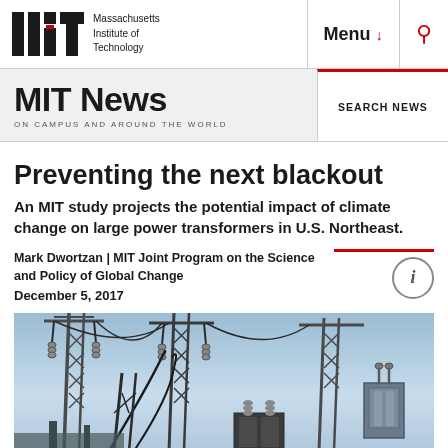MIT Massachusetts Institute of Technology | Menu | Search
MIT News ON CAMPUS AND AROUND THE WORLD
SEARCH NEWS
Preventing the next blackout
An MIT study projects the potential impact of climate change on large power transformers in U.S. Northeast.
Mark Dwortzan | MIT Joint Program on the Science and Policy of Global Change
December 5, 2017
[Figure (photo): Photograph of a large electrical power substation with metal towers, transformers, insulators, and high-voltage transmission equipment against a blue sky]